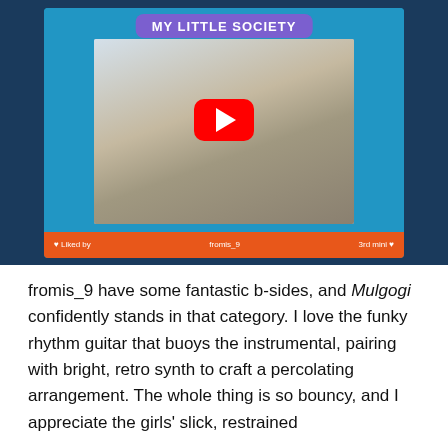[Figure (screenshot): YouTube video thumbnail for fromis_9 'My Little Society' album. Shows a group photo of K-pop girls at a party table with a red YouTube play button overlay. Below the thumbnail is an orange footer bar with text: heart Liked by | fromis_9 | 3rd mini heart. The card is on a dark blue background.]
fromis_9 have some fantastic b-sides, and Mulgogi confidently stands in that category. I love the funky rhythm guitar that buoys the instrumental, pairing with bright, retro synth to craft a percolating arrangement. The whole thing is so bouncy, and I appreciate the girls' slick, restrained